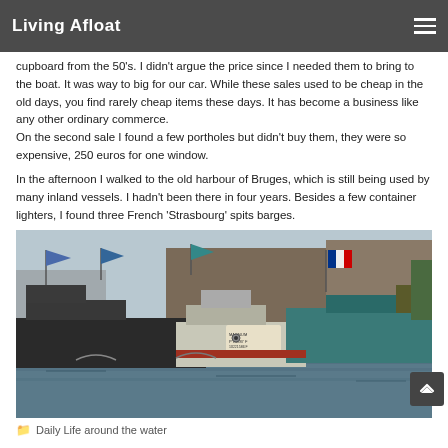Living Afloat
cupboard from the 50's. I didn't argue the price since I needed them to bring to the boat. It was way to big for our car. While these sales used to be cheap in the old days, you find rarely cheap items these days. It has become a business like any other ordinary commerce.
On the second sale I found a few portholes but didn't buy them, they were so expensive, 250 euros for one window.
In the afternoon I walked to the old harbour of Bruges, which is still being used by many inland vessels. I hadn't been there in four years. Besides a few container lighters, I found three French 'Strasbourg' spits barges.
[Figure (photo): Photo of multiple barges and inland vessels docked at the old harbour of Bruges, with flags visible and industrial buildings in the background.]
Daily Life around the water